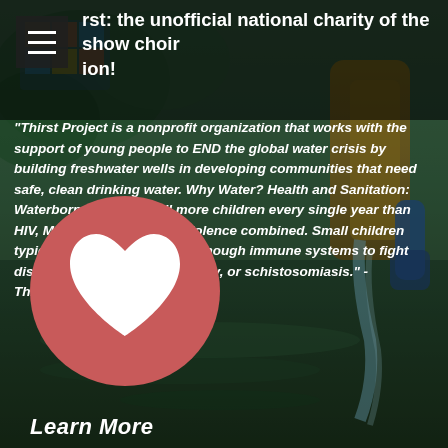rst: the unofficial national charity of the show choir ion!
"Thirst Project is a nonprofit organization that works with the support of young people to END the global water crisis by building freshwater wells in developing communities that need safe, clean drinking water. Why Water? Health and Sanitation: Waterborne diseases kill more children every single year than HIV, Malaria, and all world violence combined. Small children typically do not have strong enough immune systems to fight diseases like cholera, dysentery, or schistosomiasis." -ThirstProject.org
[Figure (illustration): Pink/rose circle with white heart icon in the center]
Learn More